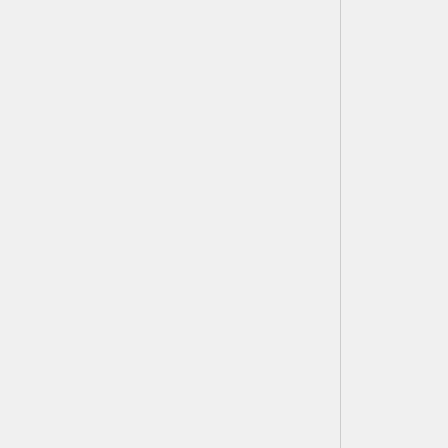[Figure (screenshot): Tree/DOM viewer interface showing two collapsed <br> nodes (with + expand buttons) followed by a text node box containing the text: 'Although CYSDV has a relatively narrow host range, it was able to overwinter in California and Arizona in 2006-2007, becoming a national and international agricultural threat [7].']
Although CYSDV has a relatively narrow host range, it was able to overwinter in California and Arizona in 2006-2007, becoming a national and international agricultural threat [7].